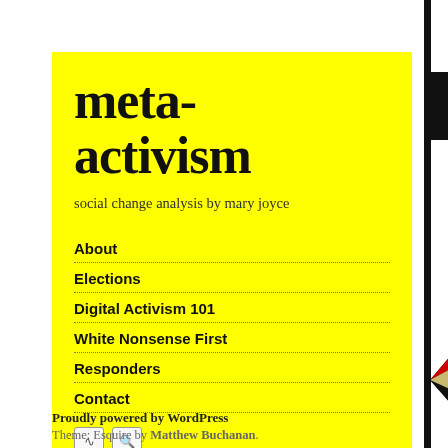meta-activism
social change analysis by mary joyce
About
Elections
Digital Activism 101
White Nonsense First
Responders
Contact
14 MAY
From Activism in S
[Figure (illustration): Geometric diamond shape with triangular sections in black, red, and cream/yellow tones]
Proudly powered by WordPress
Theme: Esquire by Matthew Buchanan.